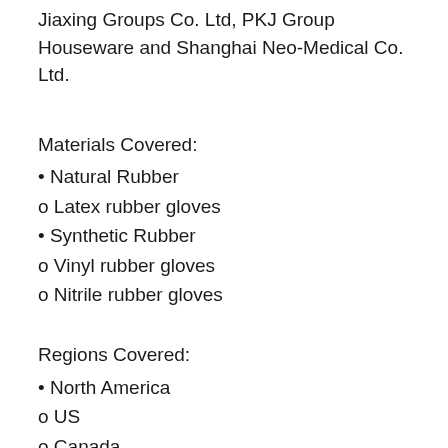Jiaxing Groups Co. Ltd, PKJ Group Houseware and Shanghai Neo-Medical Co. Ltd.
Materials Covered:
• Natural Rubber
o Latex rubber gloves
• Synthetic Rubber
o Vinyl rubber gloves
o Nitrile rubber gloves
Regions Covered:
• North America
o US
o Canada
o Mexico
• Europe